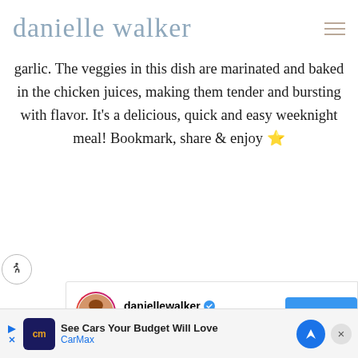danielle walker
garlic. The veggies in this dish are marinated and baked in the chicken juices, making them tender and bursting with flavor. It's a delicious, quick and easy weeknight meal! Bookmark, share & enjoy ⭐
[Figure (screenshot): Instagram embed card showing daniellewalker verified account with 'Original audio' text and a blue 'View profile' button]
[Figure (screenshot): Video preview thumbnail showing partial image with dark bars on sides]
[Figure (screenshot): CarMax advertisement banner: 'See Cars Your Budget Will Love' with CarMax branding and navigation arrow icon]